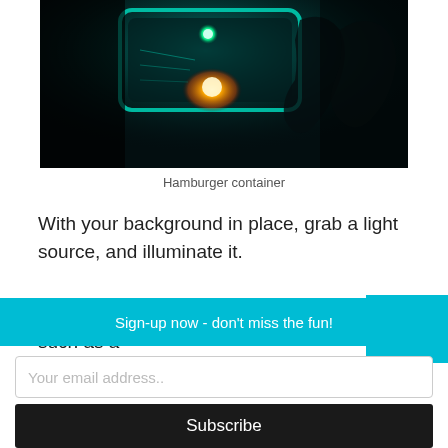[Figure (photo): Dark atmospheric photo of a hamburger container with teal/green and orange glowing lights, sci-fi style.]
Hamburger container
With your background in place, grab a light source, and illuminate it.
You can use any light source to do this, such as a
Sign-up now - don't miss the fun!
Your email address..
Subscribe